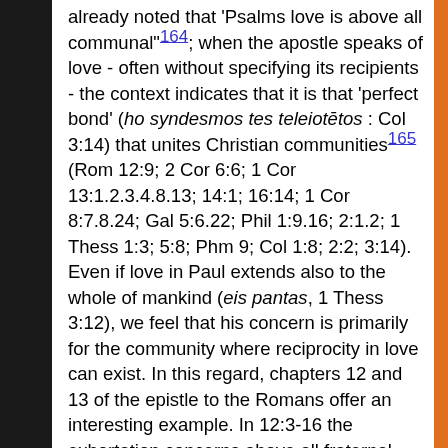already noted that 'Psalms love is above all communal'¹⁶⁴; when the apostle speaks of love - often without specifying its recipients - the context indicates that it is that 'perfect bond' (ho syndesmos tes teleiotētos : Col 3:14) that unites Christian communities¹⁶⁵ (Rom 12:9; 2 Cor 6:6; 1 Cor 13:1.2.3.4.8.13; 14:1; 16:14; 1 Cor 8:7.8.24; Gal 5:6.22; Phil 1:9.16; 2:1.2; 1 Thess 1:3; 5:8; Phm 9; Col 1:8; 2:2; 3:14). Even if love in Paul extends also to the whole of mankind (eis pantas, 1 Thess 3:12), we feel that his concern is primarily for the community where reciprocity in love can exist. In this regard, chapters 12 and 13 of the epistle to the Romans offer an interesting example. In 12:3-16 the exhortation concerns above all fraternal relationships in the community and love plays a central role: "Let brotherly love bind you together with mutual affection" (v. 10; see v. 7). On the other hand, 12:17-21 is about relationships with all